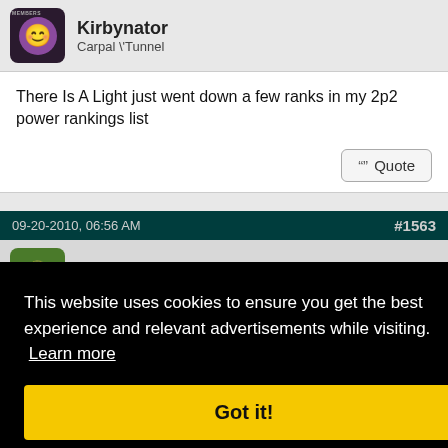Kirbynator
Carpal \'Tunnel
There Is A Light just went down a few ranks in my 2p2 power rankings list
09-20-2010, 06:56 AM
#1563
LVGambler
This website uses cookies to ensure you get the best experience and relevant advertisements while visiting. Learn more
Got it!
#1564
tuq
TEEl